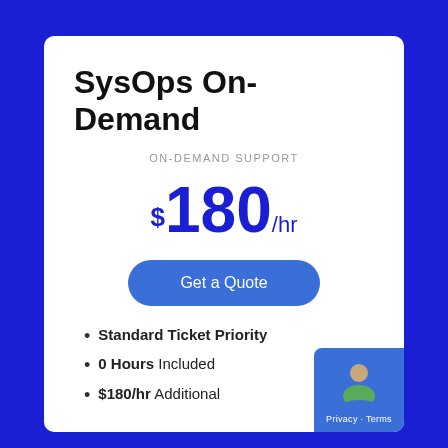SysOps On-Demand
ON-DEMAND SUPPORT
$180/hr
Get a Quote
Standard Ticket Priority
0 Hours Included
$180/hr Additional